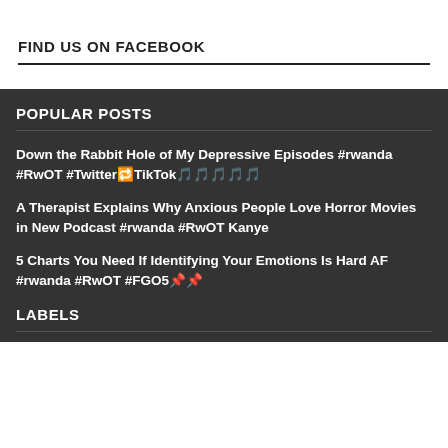FIND US ON FACEBOOK
POPULAR POSTS
Down the Rabbit Hole of My Depressive Episodes #rwanda #RwOT #Twitter🔁TikTok🎵🎵🎵🎵🎵
A Therapist Explains Why Anxious People Love Horror Movies in New Podcast #rwanda #RwOT Kanye
5 Charts You Need If Identifying Your Emotions Is Hard AF #rwanda #RwOT #FGO5📌📌
LABELS